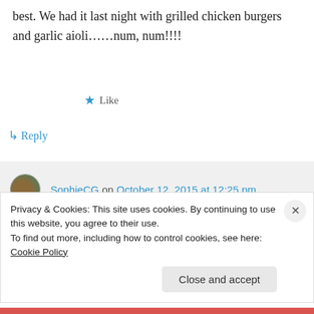best. We had it last night with grilled chicken burgers and garlic aioli……num, num!!!!
★ Like
↳ Reply
SophieCG on October 12, 2015 at 12:25 pm
Num num indeed! That meal sounds delicious, and I'm so pleased you like the
Privacy & Cookies: This site uses cookies. By continuing to use this website, you agree to their use.
To find out more, including how to control cookies, see here: Cookie Policy
Close and accept